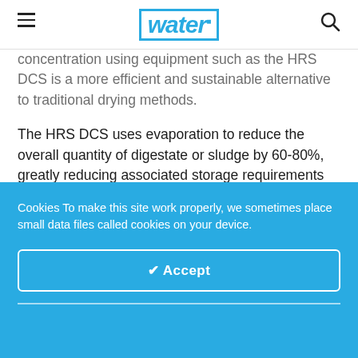water magazine
concentration using equipment such as the HRS DCS is a more efficient and sustainable alternative to traditional drying methods.
The HRS DCS uses evaporation to reduce the overall quantity of digestate or sludge by 60-80%, greatly reducing associated storage requirements and transport costs. The system includes measures to retain the valuable nutrients while the evaporated water can be condensed and reused. In
Cookies To make this site work properly, we sometimes place small data files called cookies on your device.
✔ Accept